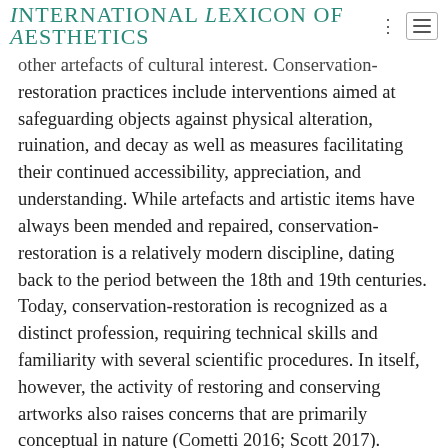International Lexicon of Aesthetics
other artefacts of cultural interest. Conservation-restoration practices include interventions aimed at safeguarding objects against physical alteration, ruination, and decay as well as measures facilitating their continued accessibility, appreciation, and understanding. While artefacts and artistic items have always been mended and repaired, conservation-restoration is a relatively modern discipline, dating back to the period between the 18th and 19th centuries. Today, conservation-restoration is recognized as a distinct profession, requiring technical skills and familiarity with several scientific procedures. In itself, however, the activity of restoring and conserving artworks also raises concerns that are primarily conceptual in nature (Cometti 2016; Scott 2017).
Many pertinent philosophical questions can be asked